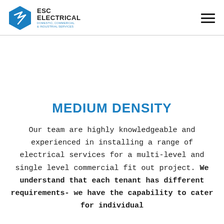[Figure (logo): ESC Electrical logo with blue hexagon shape and company name]
MEDIUM DENSITY
Our team are highly knowledgeable and experienced in installing a range of electrical services for a multi-level and single level commercial fit out project. We understand that each tenant has different requirements- we have the capability to cater for individual